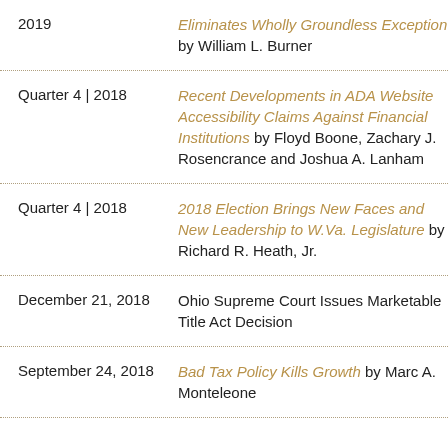2019 | Eliminates Wholly Groundless Exception by William L. Burner
Quarter 4 | 2018 | Recent Developments in ADA Website Accessibility Claims Against Financial Institutions by Floyd Boone, Zachary J. Rosencrance and Joshua A. Lanham
Quarter 4 | 2018 | 2018 Election Brings New Faces and New Leadership to W.Va. Legislature by Richard R. Heath, Jr.
December 21, 2018 | Ohio Supreme Court Issues Marketable Title Act Decision
September 24, 2018 | Bad Tax Policy Kills Growth by Marc A. Monteleone